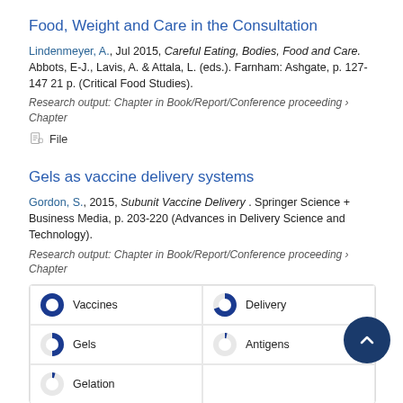Food, Weight and Care in the Consultation
Lindenmeyer, A., Jul 2015, Careful Eating, Bodies, Food and Care. Abbots, E-J., Lavis, A. & Attala, L. (eds.). Farnham: Ashgate, p. 127-147 21 p. (Critical Food Studies).
Research output: Chapter in Book/Report/Conference proceeding › Chapter
File
Gels as vaccine delivery systems
Gordon, S., 2015, Subunit Vaccine Delivery . Springer Science + Business Media, p. 203-220 (Advances in Delivery Science and Technology).
Research output: Chapter in Book/Report/Conference proceeding › Chapter
[Figure (infographic): Keyword badges with donut chart indicators showing: Vaccines (100%), Delivery (~60%), Gels (~50%), Antigens (~10%), Gelation (~10%)]